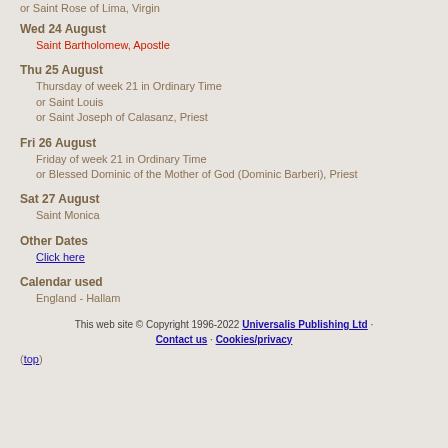or Saint Rose of Lima, Virgin
Wed 24 August
Saint Bartholomew, Apostle
Thu 25 August
Thursday of week 21 in Ordinary Time
or Saint Louis
or Saint Joseph of Calasanz, Priest
Fri 26 August
Friday of week 21 in Ordinary Time
or Blessed Dominic of the Mother of God (Dominic Barberi), Priest
Sat 27 August
Saint Monica
Other Dates
Click here
Calendar used
England - Hallam
This web site © Copyright 1996-2022 Universalis Publishing Ltd · Contact us · Cookies/privacy
(top)